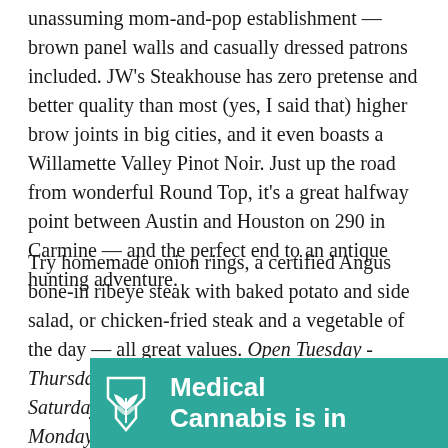unassuming mom-and-pop establishment — brown panel walls and casually dressed patrons included. JW's Steakhouse has zero pretense and better quality than most (yes, I said that) higher brow joints in big cities, and it even boasts a Willamette Valley Pinot Noir. Just up the road from wonderful Round Top, it's a great halfway point between Austin and Houston on 290 in Carmine — and the perfect end to an antique hunting adventure.
Try homemade onion rings, a certified Angus bone-in ribeye steak with baked potato and side salad, or chicken-fried steak and a vegetable of the day — all great values. Open Tuesday -Thursday from 11 am-9 pm, Friday and Saturday from 11 am-10 pm. Closed Sunday and Monday.
[Figure (infographic): Teal/green advertisement banner with a Texas leaf logo on the left and bold white text reading 'Medical Cannabis is in' on the right]